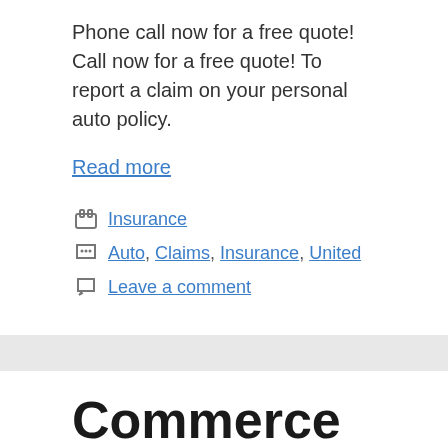Phone call now for a free quote! Call now for a free quote! To report a claim on your personal auto policy.
Read more
Insurance
Auto, Claims, Insurance, United
Leave a comment
Commerce Industry Insurance Company Claims